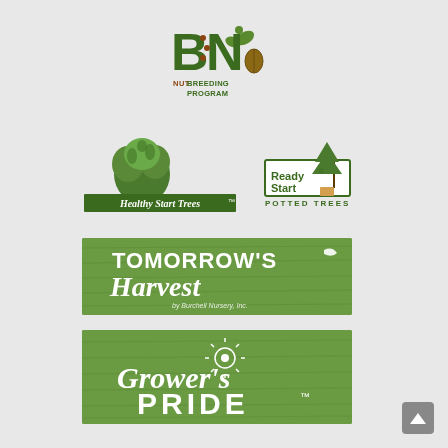[Figure (logo): BNI Nut Breeding Program logo — stylized letters BN with DNA helix and seedling graphic, text 'NUT BREEDING PROGRAM' in dark green and brown]
[Figure (logo): Healthy Start Trees logo — green tree illustration with text 'Healthy Start Trees ™' on a rectangular badge]
[Figure (logo): Ready Start® Potted Trees logo — green conifer plant in pot with text 'Ready Start® POTTED TREES']
[Figure (logo): Tomorrow's Harvest by Burchell Nursery Inc. logo — white text on green wood-grain background banner]
[Figure (logo): Grower's Pride™ logo — white script and bold text on green wood-grain background banner with sun/leaf emblem]